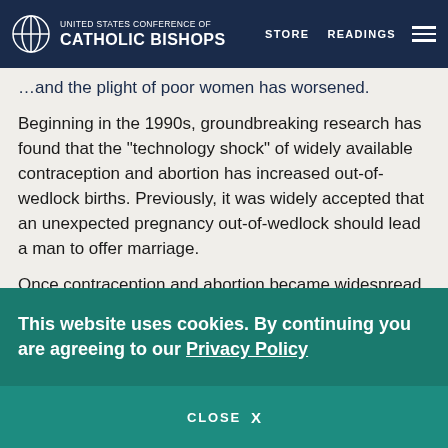UNITED STATES CONFERENCE OF CATHOLIC BISHOPS | STORE | READINGS
and the plight of poor women has worsened.
Beginning in the 1990s, groundbreaking research has found that the "technology shock" of widely available contraception and abortion has increased out-of-wedlock births. Previously, it was widely accepted that an unexpected pregnancy out-of-wedlock should lead a man to offer marriage.
Once contraception and abortion became widespread, the same pregnancy came to be seen as the woman's responsibility – and as her problem. The man's obligation can end with an offer to pay for abortion; if the woman refuses, she often soon finds herself to be a
This website uses cookies. By continuing you are agreeing to our Privacy Policy
CLOSE  X